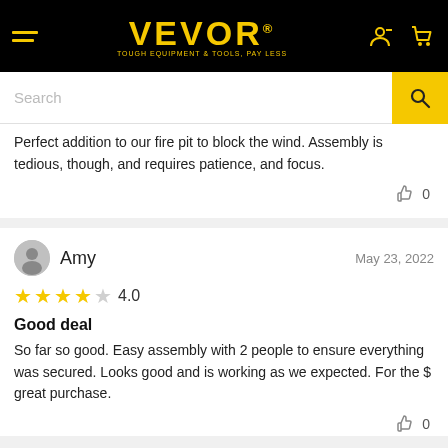[Figure (logo): VEVOR logo in yellow on black background with tagline TOUGH EQUIPMENT & TOOLS, PAY LESS]
Search
Perfect addition to our fire pit to block the wind. Assembly is tedious, though, and requires patience, and focus.
Amy    May 23, 2022
4.0
Good deal
So far so good. Easy assembly with 2 people to ensure everything was secured. Looks good and is working as we expected. For the $ great purchase.